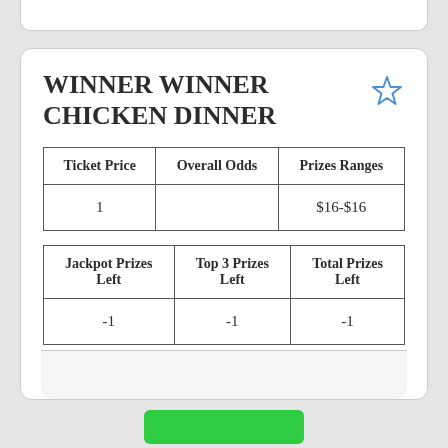WINNER WINNER CHICKEN DINNER
| Ticket Price | Overall Odds | Prizes Ranges |
| --- | --- | --- |
| 1 |  | $16-$16 |
| Jackpot Prizes Left | Top 3 Prizes Left | Total Prizes Left |
| --- | --- | --- |
| -1 | -1 | -1 |